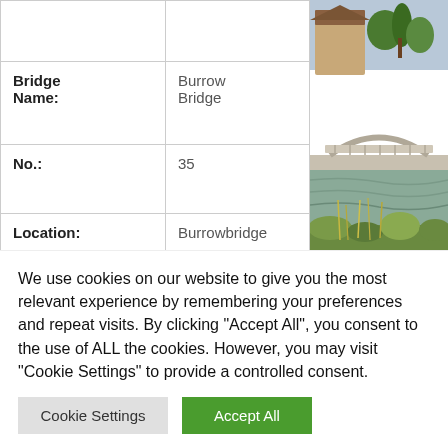| Field | Value |
| --- | --- |
|  |  |
| Bridge Name: | Burrow Bridge |
| No.: | 35 |
| Location: | Burrowbridge |
| Build Date: | 1825 |
| Engineer: | Philip Ilett |
[Figure (photo): Photograph of Burrow Bridge – a stone arch bridge over a river with vegetation in the foreground and buildings visible in the background]
We use cookies on our website to give you the most relevant experience by remembering your preferences and repeat visits. By clicking "Accept All", you consent to the use of ALL the cookies. However, you may visit "Cookie Settings" to provide a controlled consent.